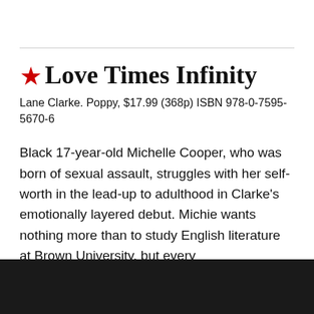★ Love Times Infinity
Lane Clarke. Poppy, $17.99 (368p) ISBN 978-0-7595-5670-6
Black 17-year-old Michelle Cooper, who was born of sexual assault, struggles with her self-worth in the lead-up to adulthood in Clarke's emotionally layered debut. Michie wants nothing more than to study English literature at Brown University, but every colleg[...] fe traum[...]